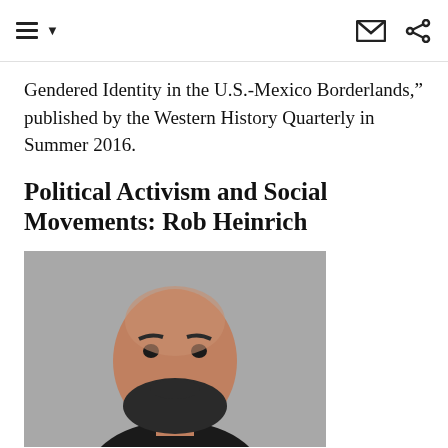Navigation and sharing icons header bar
Gendered Identity in the U.S.-Mexico Borderlands," published by the Western History Quarterly in Summer 2016.
Political Activism and Social Movements: Rob Heinrich
[Figure (photo): Headshot photo of Rob Heinrich, a bald man with a beard wearing a dark shirt, against a grey background.]
Rob Heinrich is the research editor of the American National Biography. He is a non-resident fellow at the Hutchins Center for African and African